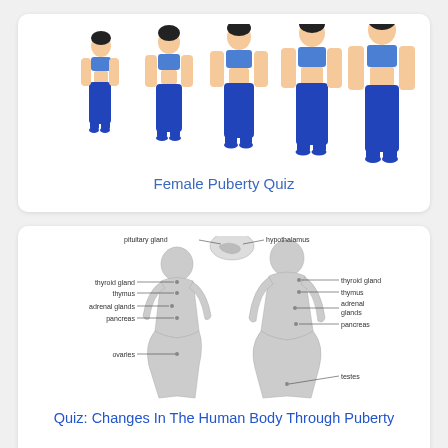[Figure (illustration): Five female figures of increasing height showing stages of female puberty development, wearing blue sports bras and blue pants]
Female Puberty Quiz
[Figure (schematic): Anatomical diagram of the endocrine system showing female and male body outlines with labeled glands: pituitary gland, hypothalamus, thyroid gland, thymus, adrenal glands, pancreas, ovaries (female), testes (male)]
Quiz: Changes In The Human Body Through Puberty
[Figure (photo): Partial view of a row of female faces/portraits against a blue background, cropped at bottom of page]